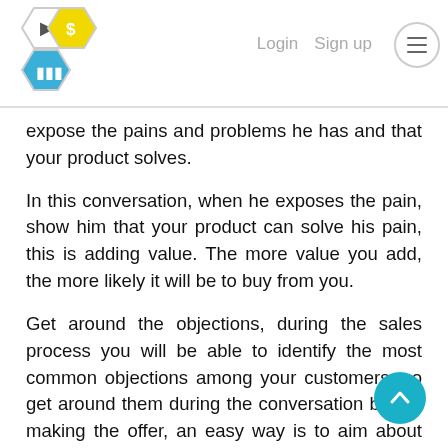Login  Sign up
[Figure (logo): Hexagonal logo with cursor, dollar sign, and bar chart icons in yellow, white, and blue]
expose the pains and problems he has and that your product solves.
In this conversation, when he exposes the pain, show him that your product can solve his pain, this is adding value. The more value you add, the more likely it will be to buy from you.
Get around the objections, during the sales process you will be able to identify the most common objections among your customers, so get around them during the conversation before making the offer, an easy way is to ask him about the objection that will arise. "I don't have money" already asks him if money is a problem if he is going through a complicated financial